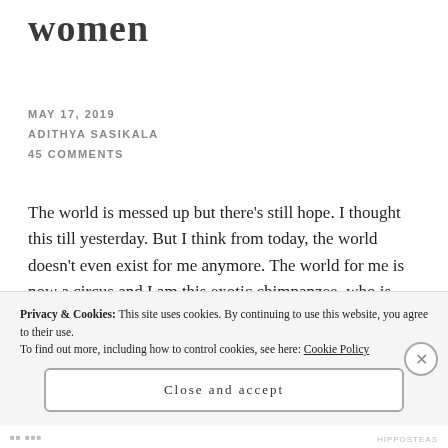women
MAY 17, 2019
ADITHYA SASIKALA
45 COMMENTS
The world is messed up but there’s still hope. I thought this till yesterday. But I think from today, the world doesn’t even exist for me anymore. The world for me is now a circus and I am this exotic chimpanzee, who is trained to perform and I must do as my ringmaster pleases or I’ll be attacked and maybe I’ll also be put behind bars. The world is progressing
Privacy & Cookies: This site uses cookies. By continuing to use this website, you agree to their use.
To find out more, including how to control cookies, see here: Cookie Policy
Close and accept